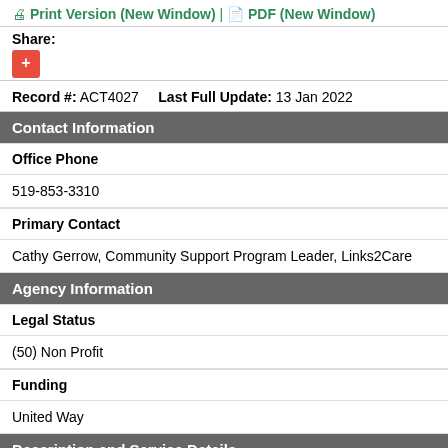Print Version (New Window) | PDF (New Window)
Share:
+
Record #: ACT4027    Last Full Update: 13 Jan 2022
Contact Information
| Office Phone |
| 519-853-3310 |
| Primary Contact |
| Cathy Gerrow, Community Support Program Leader, Links2Care |
Agency Information
| Legal Status |
| (50) Non Profit |
| Funding |
| United Way |
Description and Service Details
| Description (Service) |
| Gas bills |